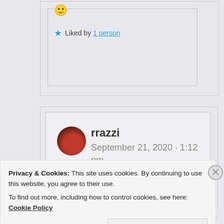[Figure (other): Smiley emoji 🙂 inside a dotted comment box]
★ Liked by 1 person
rrazzi
September 21, 2020 · 1:12 pm
Privacy & Cookies: This site uses cookies. By continuing to use this website, you agree to their use.
To find out more, including how to control cookies, see here: Cookie Policy
Close and accept